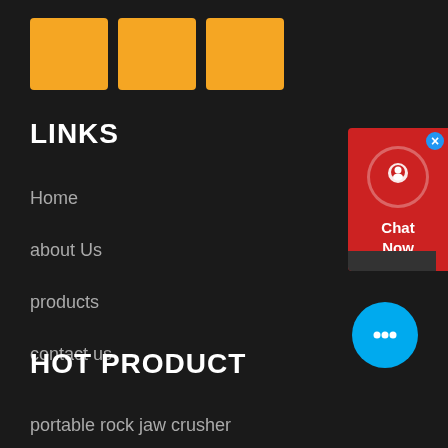[Figure (logo): Three orange rectangular blocks arranged horizontally as a logo/icon]
LINKS
Home
about Us
products
contact us
HOT PRODUCT
portable rock jaw crusher
[Figure (infographic): Red chat widget on right side with headset icon and Chat Now text, close button, and dark bottom bar]
[Figure (infographic): Cyan/blue circular chat bubble button with ellipsis dots]